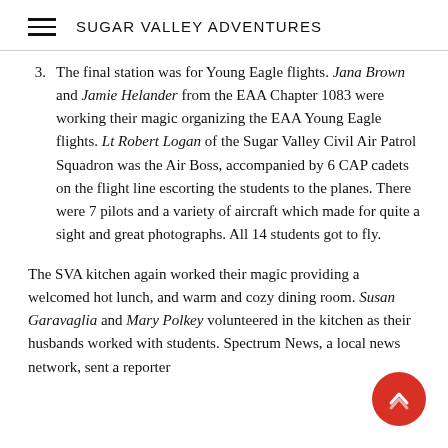SUGAR VALLEY ADVENTURES
3. The final station was for Young Eagle flights. Jana Brown and Jamie Helander from the EAA Chapter 1083 were working their magic organizing the EAA Young Eagle flights. Lt Robert Logan of the Sugar Valley Civil Air Patrol Squadron was the Air Boss, accompanied by 6 CAP cadets on the flight line escorting the students to the planes. There were 7 pilots and a variety of aircraft which made for quite a sight and great photographs. All 14 students got to fly.
The SVA kitchen again worked their magic providing a welcomed hot lunch, and warm and cozy dining room. Susan Garavaglia and Mary Polkey volunteered in the kitchen as their husbands worked with students. Spectrum News, a local news network, sent a reporter